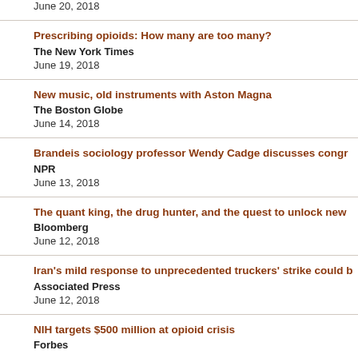June 20, 2018
Prescribing opioids: How many are too many?
The New York Times
June 19, 2018
New music, old instruments with Aston Magna
The Boston Globe
June 14, 2018
Brandeis sociology professor Wendy Cadge discusses congr...
NPR
June 13, 2018
The quant king, the drug hunter, and the quest to unlock new...
Bloomberg
June 12, 2018
Iran's mild response to unprecedented truckers' strike could b...
Associated Press
June 12, 2018
NIH targets $500 million at opioid crisis
Forbes